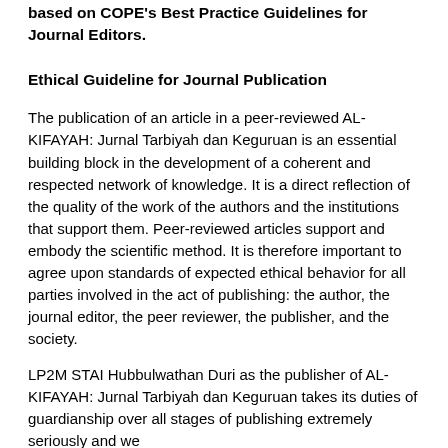based on COPE's Best Practice Guidelines for Journal Editors.
Ethical Guideline for Journal Publication
The publication of an article in a peer-reviewed AL-KIFAYAH: Jurnal Tarbiyah dan Keguruan is an essential building block in the development of a coherent and respected network of knowledge. It is a direct reflection of the quality of the work of the authors and the institutions that support them. Peer-reviewed articles support and embody the scientific method. It is therefore important to agree upon standards of expected ethical behavior for all parties involved in the act of publishing: the author, the journal editor, the peer reviewer, the publisher, and the society.
LP2M STAI Hubbulwathan Duri as the publisher of AL-KIFAYAH: Jurnal Tarbiyah dan Keguruan takes its duties of guardianship over all stages of publishing extremely seriously and we